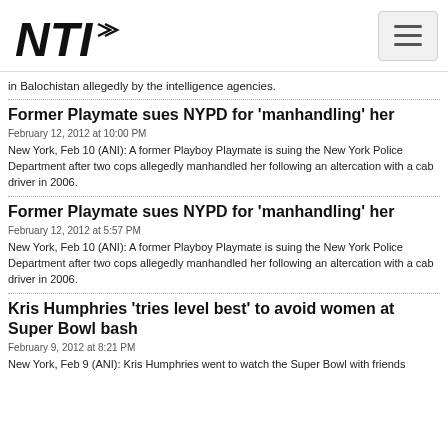NTI logo and navigation menu
in Balochistan allegedly by the intelligence agencies.
Former Playmate sues NYPD for 'manhandling' her
February 12, 2012 at 10:00 PM
New York, Feb 10 (ANI): A former Playboy Playmate is suing the New York Police Department after two cops allegedly manhandled her following an altercation with a cab driver in 2006.
Former Playmate sues NYPD for 'manhandling' her
February 12, 2012 at 5:57 PM
New York, Feb 10 (ANI): A former Playboy Playmate is suing the New York Police Department after two cops allegedly manhandled her following an altercation with a cab driver in 2006.
Kris Humphries 'tries level best' to avoid women at Super Bowl bash
February 9, 2012 at 8:21 PM
New York, Feb 9 (ANI): Kris Humphries went to watch the Super Bowl with friends